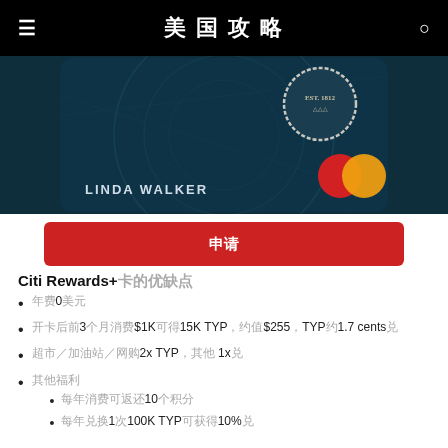美国攻略
[Figure (photo): Citi credit card showing LINDA WALKER name and Mastercard logo on dark teal background]
申请
Citi Rewards+卡的优缺点
年费0美元
开卡后前3个月消费$1K可得15K TYP，约值$255，TYP约1.7 cents兑
超市/加油站/网购2x TYP，其他 1x兑
其他福利
每年消费可返还10个积分
每年兑换1次100K TYP可获得10%兑